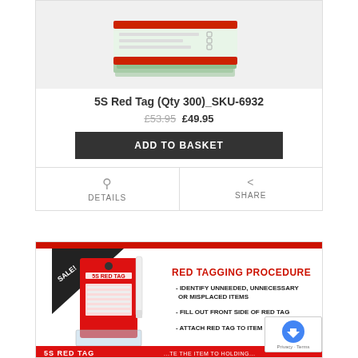[Figure (photo): Product image of 5S Red Tag (Qty 300) stacked tags bundle with red border and teal/green pages]
5S Red Tag (Qty 300)_SKU-6932
£53.95 £49.95
ADD TO BASKET
DETAILS
SHARE
[Figure (photo): Product listing image showing 5S Red Tag with SALE! banner, red tagging procedure text, instructions: IDENTIFY UNNEEDED, UNNECESSARY OR MISPLACED ITEMS; FILL OUT FRONT SIDE OF RED TAG; ATTACH RED TAG TO ITEM]